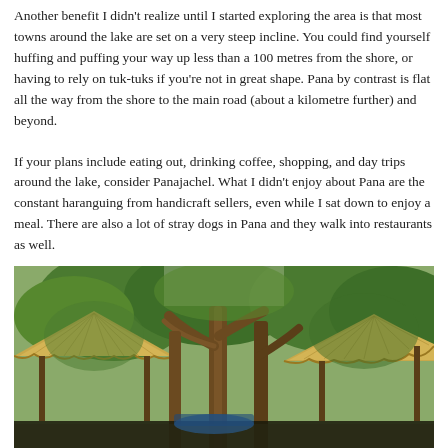Another benefit I didn't realize until I started exploring the area is that most towns around the lake are set on a very steep incline. You could find yourself huffing and puffing your way up less than a 100 metres from the shore, or having to rely on tuk-tuks if you're not in great shape. Pana by contrast is flat all the way from the shore to the main road (about a kilometre further) and beyond.
If your plans include eating out, drinking coffee, shopping, and day trips around the lake, consider Panajachel. What I didn't enjoy about Pana are the constant haranguing from handicraft sellers, even while I sat down to enjoy a meal. There are also a lot of stray dogs in Pana and they walk into restaurants as well.
[Figure (photo): Outdoor scene with thatched palm-leaf roof structures (palapa huts) among large trees with exposed trunks and green foliage in a tropical or subtropical setting.]